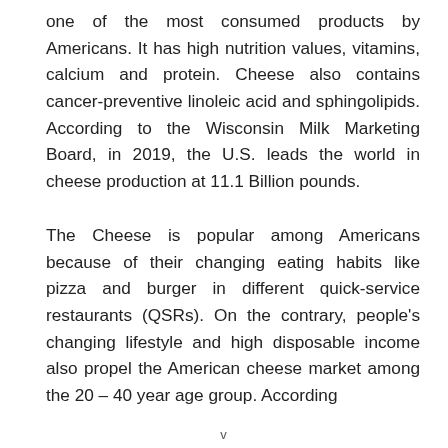one of the most consumed products by Americans. It has high nutrition values, vitamins, calcium and protein. Cheese also contains cancer-preventive linoleic acid and sphingolipids. According to the Wisconsin Milk Marketing Board, in 2019, the U.S. leads the world in cheese production at 11.1 Billion pounds.
The Cheese is popular among Americans because of their changing eating habits like pizza and burger in different quick-service restaurants (QSRs). On the contrary, people's changing lifestyle and high disposable income also propel the American cheese market among the 20 – 40 year age group. According
v